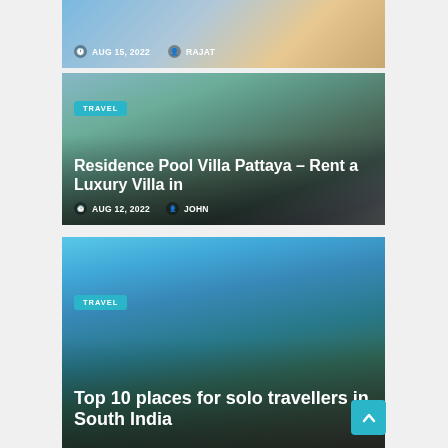[Figure (photo): Partial top card with travel illustration showing AUG 15, 2022 and author RAJAT]
AUG 15, 2022   RAJAT
[Figure (photo): Luxury pool villa in Pattaya with lush green hills backdrop and infinity pool]
TRAVEL
Residence Pool Villa Pattaya – Rent a Luxury Villa in
AUG 12, 2022   JOHN
[Figure (photo): Coastal landscape of South India with rocks and green hills]
TRAVEL
Top 10 places for solo travellers in South India